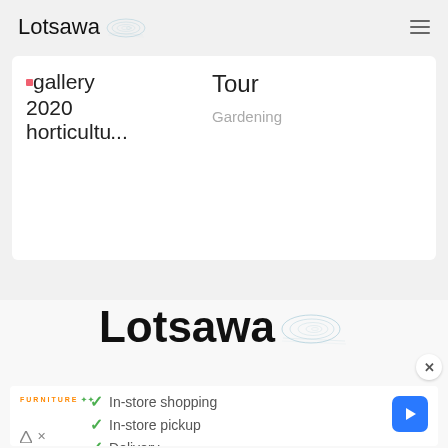Lotsawa [logo]  ≡
gallery
2020
horticult...
Tour
Gardening
[Figure (logo): Lotsawa logo with spiral water graphic, large centered version]
[Figure (screenshot): Advertisement banner: Furniture store ad showing checkmarks for In-store shopping, In-store pickup, Delivery with navigation arrow button]